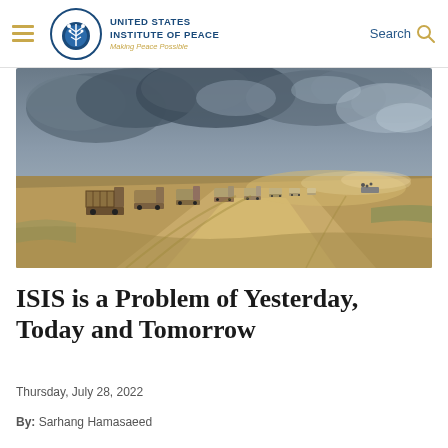United States Institute of Peace — Making Peace Possible
[Figure (photo): Aerial view of a convoy of trucks driving along a dusty desert road under dramatic cloudy skies, kicking up dust trails.]
ISIS is a Problem of Yesterday, Today and Tomorrow
Thursday, July 28, 2022
By: Sarhang Hamasaeed